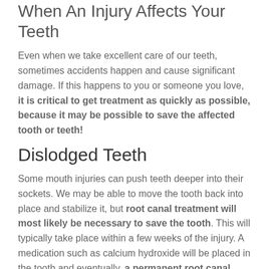When An Injury Affects Your Teeth
Even when we take excellent care of our teeth, sometimes accidents happen and cause significant damage. If this happens to you or someone you love, it is critical to get treatment as quickly as possible, because it may be possible to save the affected tooth or teeth!
Dislodged Teeth
Some mouth injuries can push teeth deeper into their sockets. We may be able to move the tooth back into place and stabilize it, but root canal treatment will most likely be necessary to save the tooth. This will typically take place within a few weeks of the injury. A medication such as calcium hydroxide will be placed in the tooth and eventually, a permanent root canal filling will be implanted.